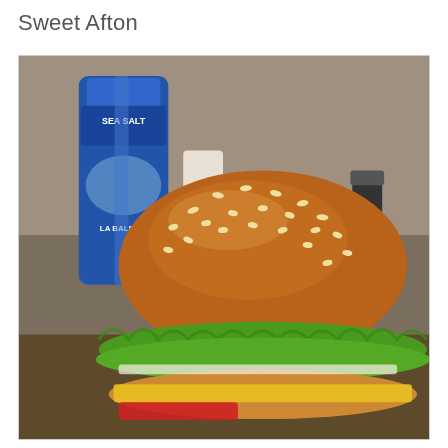Sweet Afton
[Figure (photo): A close-up photograph of a burger with a sesame-seed brioche bun, green lettuce, yellow and red toppings. In the background is a blue La Baleine sea salt container and other condiments on a restaurant table.]